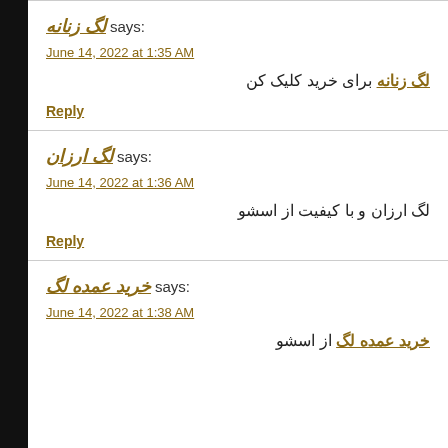لگ زنانه says:
June 14, 2022 at 1:35 AM
لگ زنانه برای خرید کلیک کن
Reply
لگ ارزان says:
June 14, 2022 at 1:36 AM
لگ ارزان و با کیفیت از اسشو
Reply
خرید عمده لگ says:
June 14, 2022 at 1:38 AM
خرید عمده لگ از اسشو